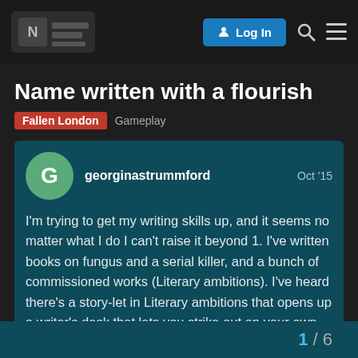Nillabash  Log In
Name written with a flourish
Fallen London  Gameplay
georginastrummford  Oct '15
I'm trying to get my writing skills up, and it seems no matter what I do I can't raise it beyond 1. I've written books on fungus and a serial killer, and a bunch of commissioned works (Literary ambitions). I've heard there's a story-let in Literary ambitions that opens up a writer's desk that lets you strike out on your own, and supposedly it unlocks at Persuasive 10, but I have 25. (Then again, I saw this on the unoffical wiki, so I know this may be wrong or incomplete) Could someone give a pointer of what I should do next? Thanks!
1 / 6